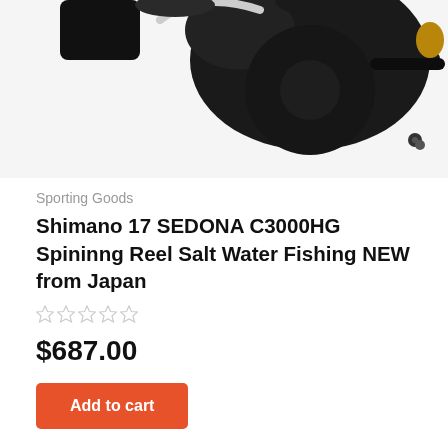[Figure (photo): Partial view of a Shimano 17 SEDONA C3000HG spinning fishing reel, cropped showing the top portion of the black reel against a white background]
Sporting Goods
Shimano 17 SEDONA C3000HG Spininng Reel Salt Water Fishing NEW from Japan
$687.00
Add to cart
About Us   Contact Us   Terms & Conditions   Privacy Policy
Copyright © All rights reserved. | Storeship by AF themes.